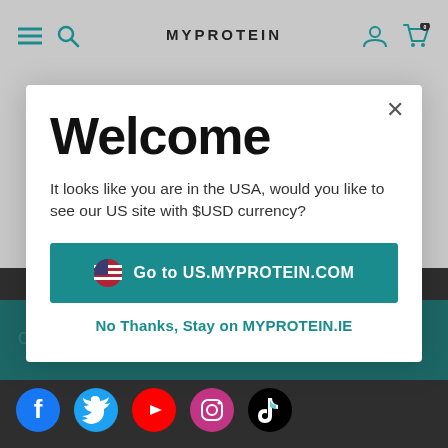MYPROTEIN
Welcome
It looks like you are in the USA, would you like to see our US site with $USD currency?
Go to US.MYPROTEIN.COM
No Thanks, Stay on MYPROTEIN.IE
Connect with us